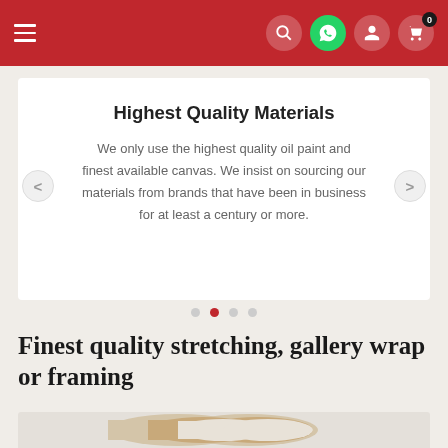Navigation bar with hamburger menu and icons (search, WhatsApp, user, cart with 0)
Highest Quality Materials
We only use the highest quality oil paint and finest available canvas. We insist on sourcing our materials from brands that have been in business for at least a century or more.
Finest quality stretching, gallery wrap or framing
[Figure (photo): Rolled canvas and framing materials stacked together, photographed from above at an angle]